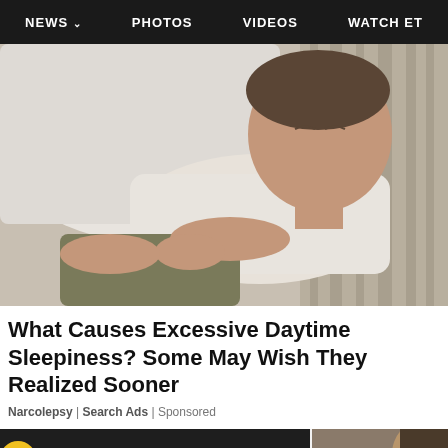NEWS  PHOTOS  VIDEOS  WATCH ET
[Figure (photo): A person lying on a bed wearing a white t-shirt and olive/grey shorts, appearing to be sleeping or drowsy, with white pillows and a striped blanket in the background.]
What Causes Excessive Daytime Sleepiness? Some May Wish They Realized Sooner
Narcolepsy | Search Ads | Sponsored
[Figure (screenshot): Bottom strip showing partial logos/thumbnails: a yellow circular logo with dark background showing 'WAT', text 'IDS' in large white letters on dark background, and a partial image of a person on the right.]